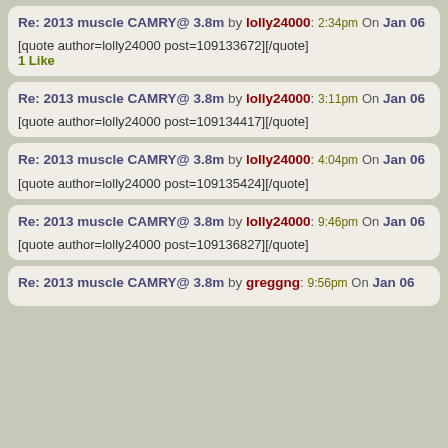Re: 2013 muscle CAMRY@ 3.8m by lolly24000: 2:34pm On Jan 06
[quote author=lolly24000 post=109133672][/quote]
1 Like
Re: 2013 muscle CAMRY@ 3.8m by lolly24000: 3:11pm On Jan 06
[quote author=lolly24000 post=109134417][/quote]
Re: 2013 muscle CAMRY@ 3.8m by lolly24000: 4:04pm On Jan 06
[quote author=lolly24000 post=109135424][/quote]
Re: 2013 muscle CAMRY@ 3.8m by lolly24000: 9:46pm On Jan 06
[quote author=lolly24000 post=109136827][/quote]
Re: 2013 muscle CAMRY@ 3.8m by greggng: 9:56pm On Jan 06